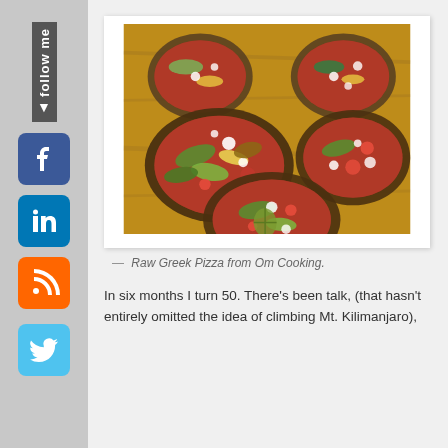[Figure (photo): Small round raw vegan pizzas with vegetable toppings on a wooden surface, showing multiple mini pizzas with colorful toppings including zucchini, tomatoes, and white cheese crumbles on dark seed crusts.]
— Raw Greek Pizza from Om Cooking.
In six months I turn 50. There's been talk, (that hasn't entirely omitted the idea of climbing Mt. Kilimanjaro),